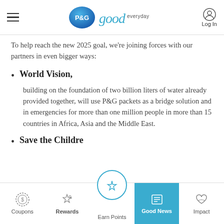P&G Good Everyday — hamburger menu, logo, Log In
To help reach the new 2025 goal, we're joining forces with our partners in even bigger ways:
World Vision,
building on the foundation of two billion liters of water already provided together, will use P&G packets as a bridge solution and in emergencies for more than one million people in more than 15 countries in Africa, Asia and the Middle East.
Save the Children
Coupons | Rewards | Earn Points | Good News | Impact